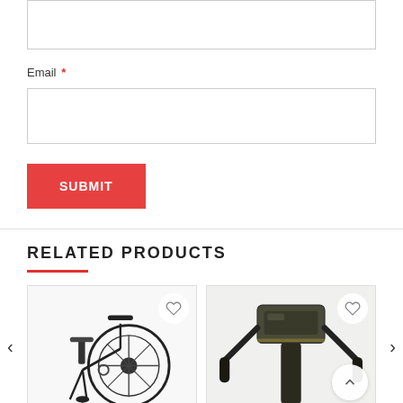[Text input box - top, partial]
Email *
[Email input box]
SUBMIT
RELATED PRODUCTS
[Figure (photo): Upright air bike / fan bike, black frame, large fan wheel, handlebars visible. Wishlist heart icon top right.]
[Figure (photo): Treadmill closeup showing console/handlebars, dark olive/black frame. Wishlist heart icon top right.]